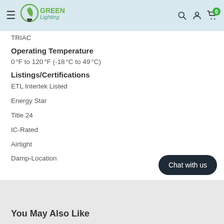Green Lighting — navigation header with search, account, and cart icons
TRIAC
Operating Temperature
0 °F to 120 °F (-18 °C to 49 °C)
Listings/Certifications
ETL Intertek Listed
Energy Star
Title 24
IC-Rated
Airtight
Damp-Location
You May Also Like